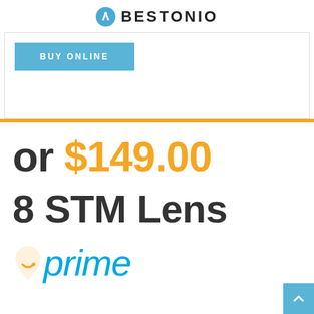BESTONIO
[Figure (screenshot): Blue 'BUY ONLINE' button on a white card with light grey border, above an orange horizontal bar]
or $149.00
8 STM Lens
[Figure (logo): Amazon Prime logo partial: orange flame icon and 'prime' in cyan italic text]